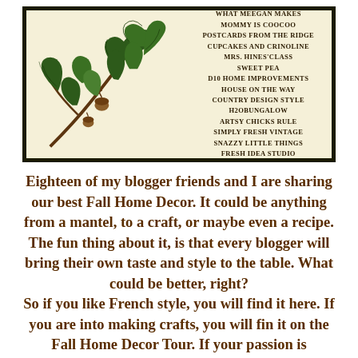[Figure (illustration): A decorative banner with a botanical illustration of an oak branch with acorns on the left side, and a list of blogger names in uppercase serif text on the right side, all within a thick black border on a cream background.]
Eighteen of my blogger friends and I are sharing our best Fall Home Decor.  It could be anything from a mantel, to a craft, or maybe even a recipe.  The fun thing about it, is that every blogger will bring their own taste and style to the table.  What could be better, right?
So if you like French style, you will find it here.  If you are into making crafts, you will fin it on the Fall Home Decor Tour.  If your passion is decorating